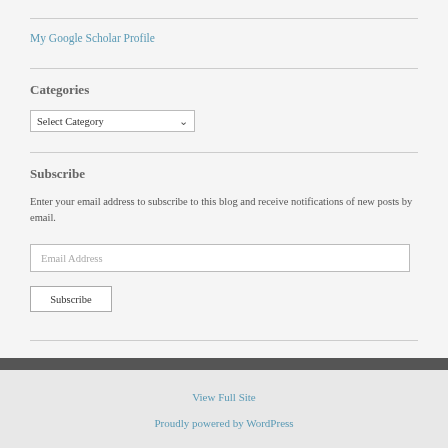My Google Scholar Profile
Categories
Select Category
Subscribe
Enter your email address to subscribe to this blog and receive notifications of new posts by email.
Email Address
Subscribe
View Full Site
Proudly powered by WordPress